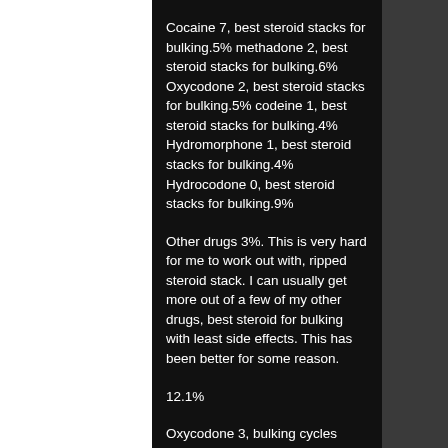Cocaine 7, best steroid stacks for bulking.5% methadone 2, best steroid stacks for bulking.6% Oxycodone 2, best steroid stacks for bulking.5% codeine 1, best steroid stacks for bulking.4% Hydromorphone 1, best steroid stacks for bulking.4% Hydrocodone 0, best steroid stacks for bulking.9%
Other drugs 3%. This is very hard for me to work out with, ripped steroid stack. I can usually get more out of a few of my other drugs, best steroid for bulking with least side effects. This has been better for some reason.
12.1%
Oxycodone 3, bulking cycles steroids.3% Heroin 3% Hydrocodone 2%